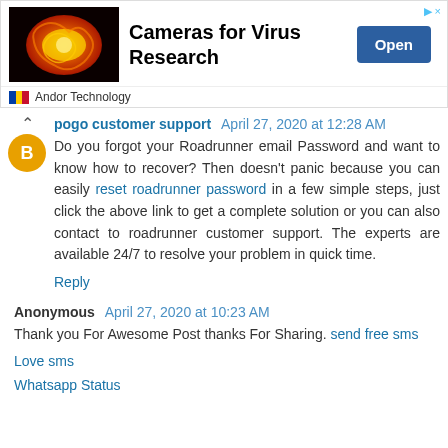[Figure (screenshot): Advertisement banner for Cameras for Virus Research by Andor Technology, with an Open button and a close/info icon in top right.]
pogo customer support April 27, 2020 at 12:28 AM
Do you forgot your Roadrunner email Password and want to know how to recover? Then doesn't panic because you can easily reset roadrunner password in a few simple steps, just click the above link to get a complete solution or you can also contact to roadrunner customer support. The experts are available 24/7 to resolve your problem in quick time.
Reply
Anonymous April 27, 2020 at 10:23 AM
Thank you For Awesome Post thanks For Sharing. send free sms
Love sms
Whatsapp Status